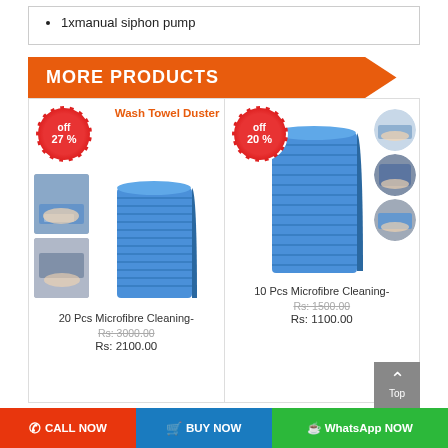1xmanual siphon pump
MORE PRODUCTS
[Figure (photo): Product card: 20 Pcs Microfibre Cleaning- with 27% off badge. Shows stack of blue microfibre cloths and two smaller images. Title says Wash Towel Duster. Price Rs: 3000.00 strikethrough, Rs: 2100.00]
[Figure (photo): Product card: 10 Pcs Microfibre Cleaning- with 20% off badge. Shows stack of blue microfibre cloths and three circular smaller images. Price Rs: 1500.00 strikethrough, Rs: 1100.00]
CALL NOW | BUY NOW | WhatsApp NOW